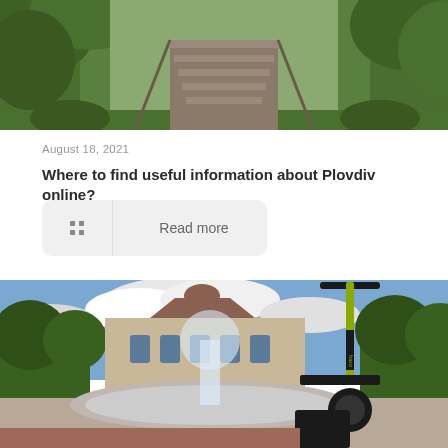[Figure (photo): Outdoor staircase path with lush green vegetation and trees on both sides, natural daylight]
August 18, 2021
Where to find useful information about Plovdiv online?
Read more
[Figure (photo): Electric scooter (Haro brand, yellow-green) in foreground with a fountain and a historic building in the background, blue sky with clouds and trees]